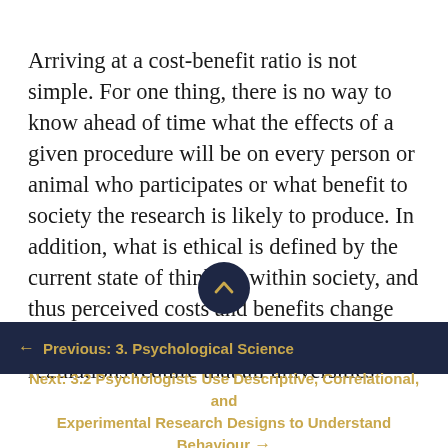Arriving at a cost-benefit ratio is not simple. For one thing, there is no way to know ahead of time what the effects of a given procedure will be on every person or animal who participates or what benefit to society the research is likely to produce. In addition, what is ethical is defined by the current state of thinking within society, and thus perceived costs and benefits change over time. In Canada, the Tri-Council regulations require that all universities receiving funds from the Agencies set up an Ethical Review Board (ERB) to determine whether proposed research meets department
← Previous: 3. Psychological Science
Next: 3.2 Psychologists Use Descriptive, Correlational, and Experimental Research Designs to Understand Behaviour →